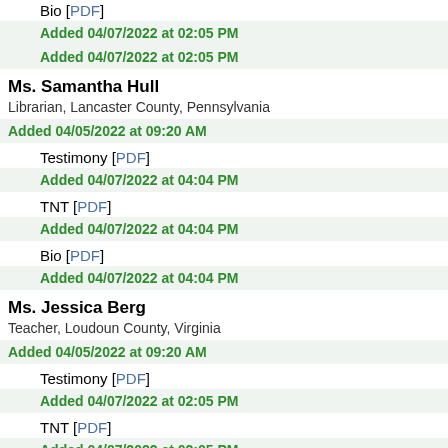Bio [PDF]
Added 04/07/2022 at 02:05 PM
Added 04/07/2022 at 02:05 PM
Ms. Samantha Hull
Librarian, Lancaster County, Pennsylvania
Added 04/05/2022 at 09:20 AM
Testimony [PDF]
Added 04/07/2022 at 04:04 PM
TNT [PDF]
Added 04/07/2022 at 04:04 PM
Bio [PDF]
Added 04/07/2022 at 04:04 PM
Ms. Jessica Berg
Teacher, Loudoun County, Virginia
Added 04/05/2022 at 09:20 AM
Testimony [PDF]
Added 04/07/2022 at 02:05 PM
TNT [PDF]
Added 04/07/2022 at 02:05 PM